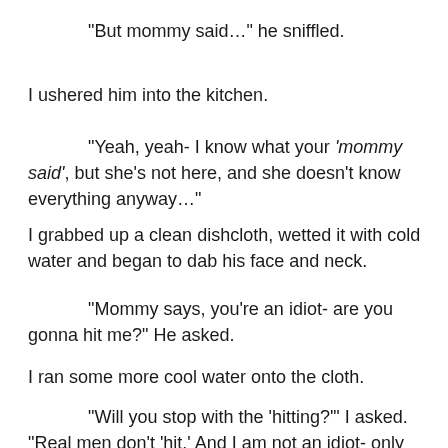“But mommy said…” he sniffled.
I ushered him into the kitchen.
“Yeah, yeah- I know what your ‘mommy said’, but she’s not here, and she doesn’t know everything anyway…”
I grabbed up a clean dishcloth, wetted it with cold water and began to dab his face and neck.
“Mommy says, you’re an idiot- are you gonna hit me?” He asked.
I ran some more cool water onto the cloth.
“Will you stop with the ‘hitting?’” I asked. “Real men don’t ‘hit.’ And I am not an idiot- only your mommy thinks so- or, well… anyway, just take my word for it; I am not going to hit you.”